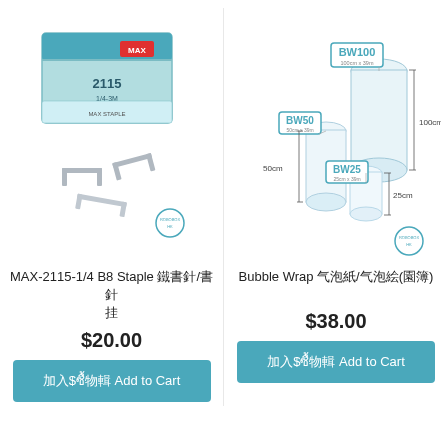[Figure (photo): MAX-2115-1/4 B8 Staple product image showing a box of staples and loose staples]
MAX-2115-1/4 B8 Staple 釘書針/書釘
$20.00
加入購物車 Add to Cart
[Figure (photo): Bubble Wrap rolls in three sizes: BW100 (100cm x 39m), BW50 (50cm x 39m), BW25 (25cm x 39m)]
Bubble Wrap 氣泡紙/氣泡膜(圓筒)
$38.00
加入購物車 Add to Cart